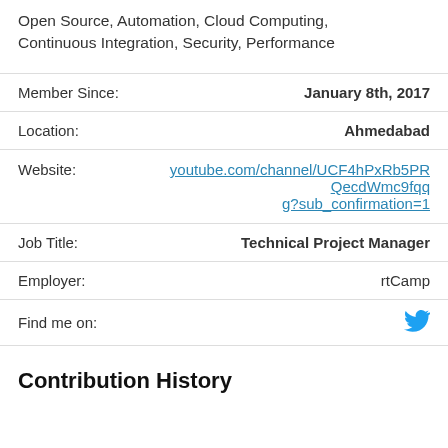Open Source, Automation, Cloud Computing, Continuous Integration, Security, Performance
| Field | Value |
| --- | --- |
| Member Since: | January 8th, 2017 |
| Location: | Ahmedabad |
| Website: | youtube.com/channel/UCF4hPxRb5PRQecdWmc9fqqg?sub_confirmation=1 |
| Job Title: | Technical Project Manager |
| Employer: | rtCamp |
| Find me on: | [Twitter icon] |
Contribution History